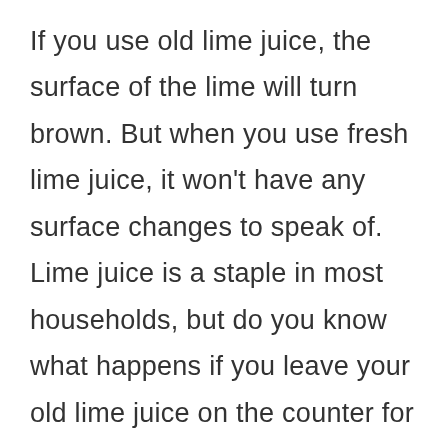If you use old lime juice, the surface of the lime will turn brown. But when you use fresh lime juice, it won't have any surface changes to speak of. Lime juice is a staple in most households, but do you know what happens if you leave your old lime juice on the counter for too long? The lime juice will eventually ferment and become alcohol. This is why it's important to use fresh, cold